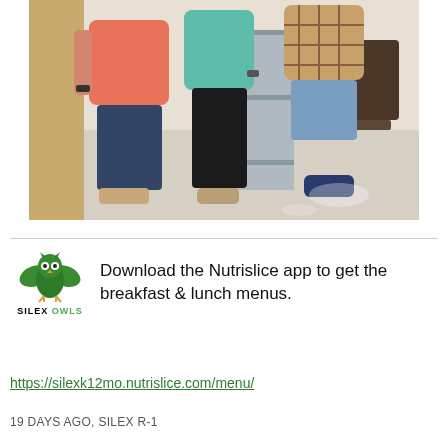[Figure (photo): Three people standing indoors in an office setting. Person on left wearing a coral/salmon top and dark jeans with sandals, person in middle wearing a teal top and black pants with tan shoes, person on right wearing a plaid shirt and denim shorts with dark sneakers. Filing cabinets and chairs visible in background.]
[Figure (logo): Silex Owls logo: green owl with spread wings, text 'SILEX OWLS' below in black and green.]
Download the Nutrislice app to get the breakfast & lunch menus.
https://silexk12mo.nutrislice.com/menu/
19 DAYS AGO, SILEX R-1